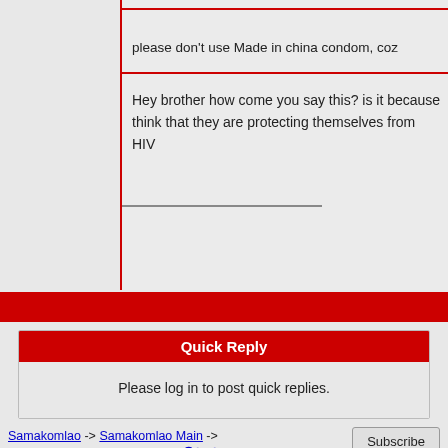please don't use Made in china condom, coz...
Hey brother how come you say this? is it because ... think that they are protecting themselves from HIV...
Quick Reply
Please log in to post quick replies.
Samakomlao -> Samakomlao Main -> Sex education -> ແຄວວຈໍາມ່ວນ ມີຄືນຕື
Subscribe
Jump To: